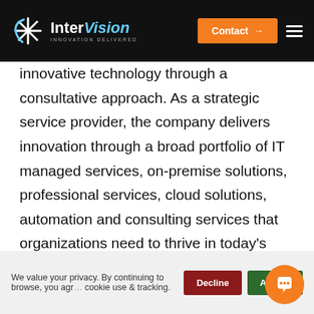InterVision — INNOVATION DELIVERED | Contact
innovative technology through a consultative approach. As a strategic service provider, the company delivers innovation through a broad portfolio of IT managed services, on-premise solutions, professional services, cloud solutions, automation and consulting services that organizations need to thrive in today's dynamic IT market. InterVision's vendor-certified sales and engineering staff have specialized expertise in all areas critical to IT environments. The company has regional headquarters in Santa Clara, Calif. and St. Louis, Mo., as well as offices and datacenters throughout the U.S. For more
We value your privacy. By continuing to browse, you agr... cookie use & tracking. | Decline | Accept